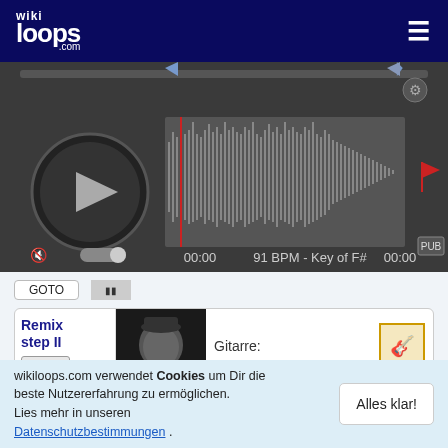[Figure (screenshot): wikiloops.com website header with logo and hamburger menu on dark navy background]
[Figure (other): Audio player interface showing waveform, play button, time markers 00:00, BPM 91 BPM - Key of F#, PUB label, mute and settings controls]
[Figure (screenshot): Partial GOTO button row above the main remix card]
| Remix step II | MUTE | GOTO | [photo of Balfo] | Gitarre: | [guitar icon] | Balfo | 534 jams ⭐ |
wikiloops.com verwendet Cookies um Dir die beste Nutzererfahrung zu ermöglichen. Lies mehr in unseren Datenschutzbestimmungen .
Alles klar!